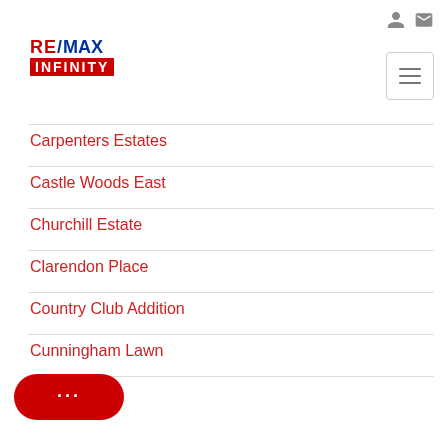[Figure (logo): RE/MAX INFINITY logo in red and blue]
Carpenters Estates
Castle Woods East
Churchill Estate
Clarendon Place
Country Club Addition
Cunningham Lawn